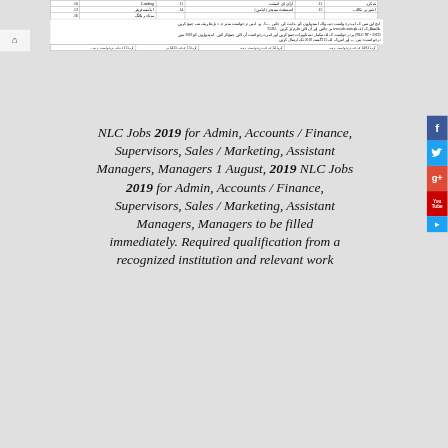| 10. | Loading | 11. | آرڈی ای استنت | 12. | شکریہ |
| --- | --- | --- | --- | --- | --- |
| 13. | ایڈمنسٹریٹر | 14. | اسسٹنٹ مینیجر (ایڈمن) | 15. | اشیر پر نکالنے |
| 16. | میناجر پلانگ |  |  |  |  |
Urdu body text describing NLC NF-2019 job application instructions with website www.nlc.com.pk and deadline 15 اگست 2019
| گریڈ 13-14 کے لئے درخواست دہندہ | گریڈ 14 کے لئے درخواست دہندہ | گریڈ 15 کے لئے 14:15 پر | گریڈ 15 کے لئے درخواست دہندہ |
| --- | --- | --- | --- |
NLC Jobs 2019 for Admin, Accounts/Finance, Supervisors, Sales/Marketing, Assistant Managers, Managers 1 August, 2019 NLC Jobs 2019 for Admin, Accounts/Finance, Supervisors, Sales/Marketing, Assistant Managers, Managers to be filled immediately. Required qualification from a recognized institution and relevant work